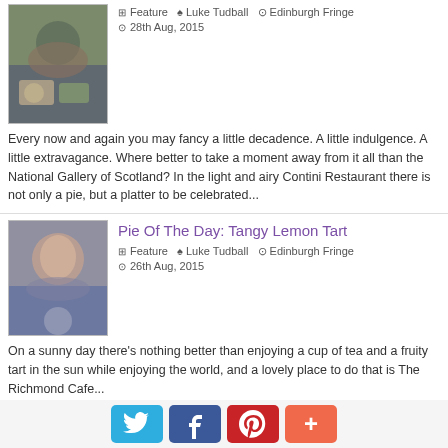[Figure (photo): Photo of a man eating food, thumbnail image]
Feature  Luke Tudball  Edinburgh Fringe
28th Aug, 2015
Every now and again you may fancy a little decadence. A little indulgence. A little extravagance. Where better to take a moment away from it all than the National Gallery of Scotland? In the light and airy Contini Restaurant there is not only a pie, but a platter to be celebrated...
[Figure (photo): Photo of a smiling man, thumbnail image]
Pie Of The Day: Tangy Lemon Tart
Feature  Luke Tudball  Edinburgh Fringe
26th Aug, 2015
On a sunny day there's nothing better than enjoying a cup of tea and a fruity tart in the sun while enjoying the world, and a lovely place to do that is The Richmond Cafe...
[Figure (photo): Partial photo thumbnail, cropped at bottom]
Pie Of The Day: Sticky Toffee Pudding
Twitter  Facebook  Pinterest  +